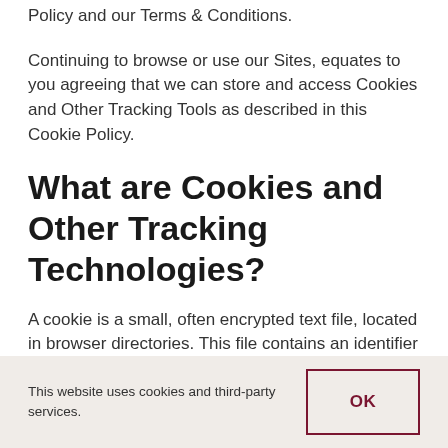Policy and our Terms & Conditions.
Continuing to browse or use our Sites, equates to you agreeing that we can store and access Cookies and Other Tracking Tools as described in this Cookie Policy.
What are Cookies and Other Tracking Technologies?
A cookie is a small, often encrypted text file, located in browser directories. This file contains an identifier (a string of letters and
This website uses cookies and third-party services.
OK